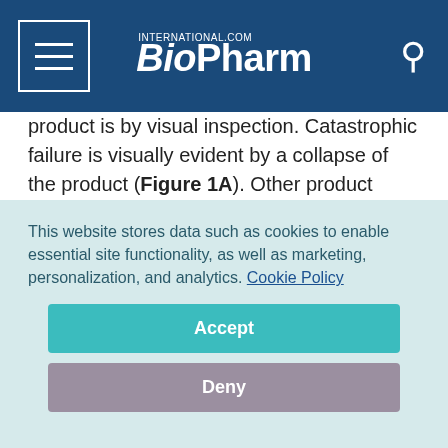BioPharm International
product is by visual inspection. Catastrophic failure is visually evident by a collapse of the product (Figure 1A). Other product defects are not readily apparent but can still be determined by an assessment of appearance. For example, a partial collapse may have occurred during drying, or a suboptimal crystal structure may have been achieved during freezing so that the product will not reconstitute evenly. Some of these events may result in a change of appearance (Figure 1B), but it is not easy to relate changes in appearance to
This website stores data such as cookies to enable essential site functionality, as well as marketing, personalization, and analytics. Cookie Policy